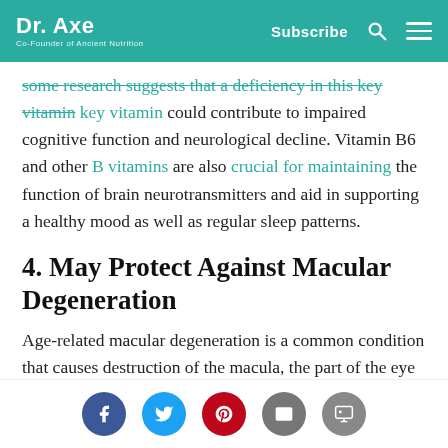Dr. Axe — Co-Founder of Ancient Nutrition | Subscribe
some research suggests that a deficiency in this key vitamin could contribute to impaired cognitive function and neurological decline. Vitamin B6 and other B vitamins are also crucial for maintaining the function of brain neurotransmitters and aid in supporting a healthy mood as well as regular sleep patterns.
4. May Protect Against Macular Degeneration
Age-related macular degeneration is a common condition that causes destruction of the macula, the part of the eye that provides sharp, central